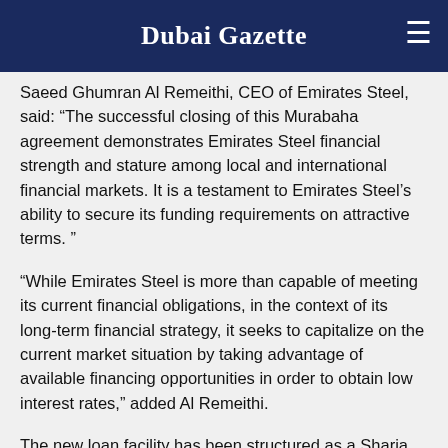Dubai Gazette
Saeed Ghumran Al Remeithi, CEO of Emirates Steel, said: “The successful closing of this Murabaha agreement demonstrates Emirates Steel financial strength and stature among local and international financial markets. It is a testament to Emirates Steel’s ability to secure its funding requirements on attractive terms. ”
“While Emirates Steel is more than capable of meeting its current financial obligations, in the context of its long-term financial strategy, it seeks to capitalize on the current market situation by taking advantage of available financing opportunities in order to obtain low interest rates,” added Al Remeithi.
The new loan facility has been structured as a Sharia compliant financing instrument. While based on a commodity Murabaha structure, the facility seeks to avoid the need for repeat commodity trades on a rolling basis and instead relies on a fixed rate, long-term commodity Murabaha contract, with